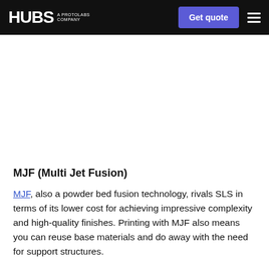HUBS A PROTOLABS COMPANY | Get quote
[Figure (photo): Image area placeholder for MJF technology photo]
MJF (Multi Jet Fusion)
MJF, also a powder bed fusion technology, rivals SLS in terms of its lower cost for achieving impressive complexity and high-quality finishes. Printing with MJF also means you can reuse base materials and do away with the need for support structures.